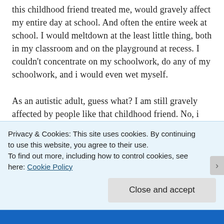this childhood friend treated me, would gravely affect my entire day at school. And often the entire week at school. I would meltdown at the least little thing, both in my classroom and on the playground at recess. I couldn't concentrate on my schoolwork, do any of my schoolwork, and i would even wet myself.

As an autistic adult, guess what? I am still gravely affected by people like that childhood friend. No, i don't wet myself anymore, but when people won't listen, let me talk, and believe me when i say i can or can't do something, or they are harsh and insensitive towards me, and say things that are
Privacy & Cookies: This site uses cookies. By continuing to use this website, you agree to their use.
To find out more, including how to control cookies, see here: Cookie Policy
Close and accept